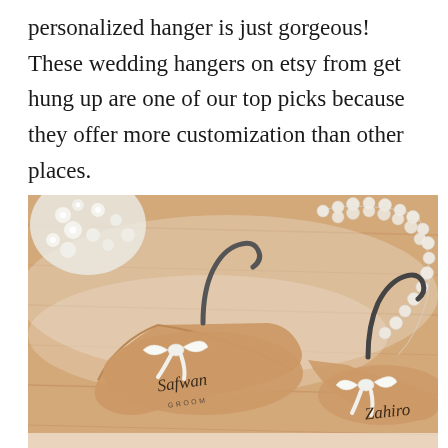personalized hanger is just gorgeous! These wedding hangers on etsy from get hung up are one of our top picks because they offer more customization than other places.
[Figure (photo): Two personalized wooden wedding hangers with black metal hooks and white ribbon bows, one labeled 'Safwan GROOM' and the other partially visible labeled 'Zahiro...', placed on a wooden surface with baby's breath flowers and pearl necklaces in the background.]